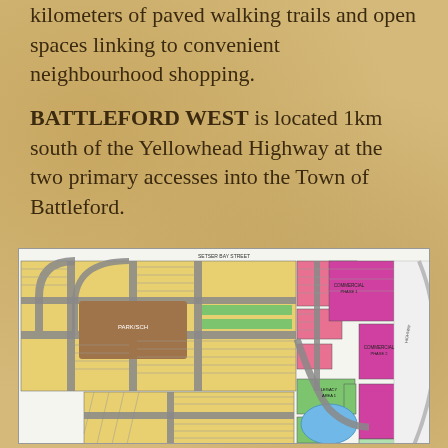kilometers of paved walking trails and open spaces linking to convenient neighbourhood shopping.
BATTLEFORD WEST is located 1km south of the Yellowhead Highway at the two primary accesses into the Town of Battleford.
[Figure (map): Colour-coded subdivision plan map of Battleford West development showing residential lots in yellow, commercial/retail areas in pink and magenta, green spaces, blue areas, and road network with grey paved streets. Subdivided parcels are visible with lot lines. A street label 'SETSER BAY STREET' is visible at the top.]